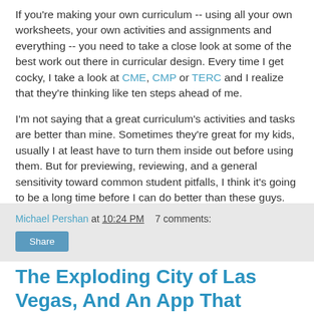If you're making your own curriculum -- using all your own worksheets, your own activities and assignments and everything -- you need to take a close look at some of the best work out there in curricular design. Every time I get cocky, I take a look at CME, CMP or TERC and I realize that they're thinking like ten steps ahead of me.
I'm not saying that a great curriculum's activities and tasks are better than mine. Sometimes they're great for my kids, usually I at least have to turn them inside out before using them. But for previewing, reviewing, and a general sensitivity toward common student pitfalls, I think it's going to be a long time before I can do better than these guys.
Michael Pershan at 10:24 PM   7 comments:
Share
The Exploding City of Las Vegas, And An App That Helped